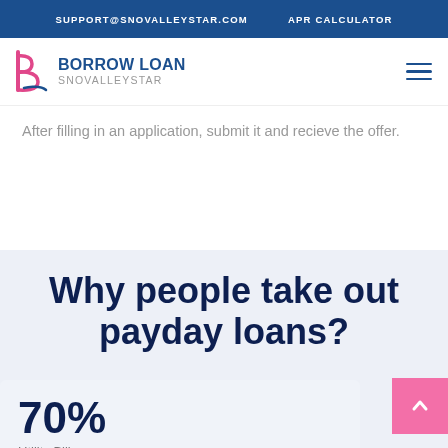SUPPORT@SNOVALLEYSTAR.COM   APR CALCULATOR
[Figure (logo): Borrow Loan Snovalleystar logo with stylized 'b' icon in pink/magenta and blue text]
After filling in an application, submit it and recieve the offer.
Why people take out payday loans?
70%
Utility Bills